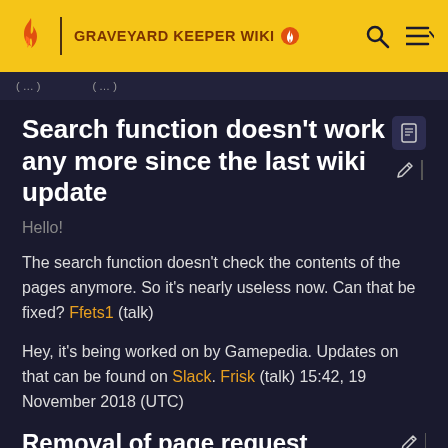GRAVEYARD KEEPER WIKI
Search function doesn't work any more since the last wiki update
Hello!
The search function doesn't check the contents of the pages anymore. So it's nearly useless now. Can that be fixed? Ffets1 (talk)
Hey, it's being worked on by Gamepedia. Updates on that can be found on Slack. Frisk (talk) 15:42, 19 November 2018 (UTC)
Removal of page request